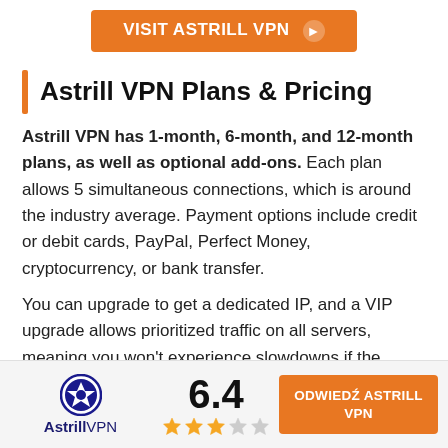[Figure (other): Orange button: VISIT ASTRILL VPN with arrow icon]
Astrill VPN Plans & Pricing
Astrill VPN has 1-month, 6-month, and 12-month plans, as well as optional add-ons. Each plan allows 5 simultaneous connections, which is around the industry average. Payment options include credit or debit cards, PayPal, Perfect Money, cryptocurrency, or bank transfer.
You can upgrade to get a dedicated IP, and a VIP upgrade allows prioritized traffic on all servers, meaning you won't experience slowdowns if the
[Figure (logo): AstrillVPN logo with star icon]
6.4
[Figure (infographic): 3 filled gold stars, 1 half/empty star, 1 empty star rating]
[Figure (other): Orange button: ODWIEDŹ ASTRILL VPN]